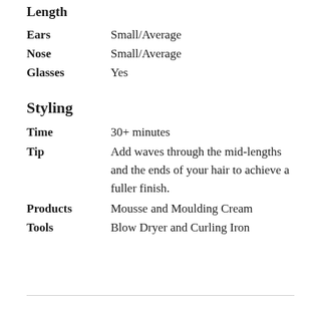Length
Ears    Small/Average
Nose    Small/Average
Glasses    Yes
Styling
Time    30+ minutes
Tip    Add waves through the mid-lengths and the ends of your hair to achieve a fuller finish.
Products    Mousse and Moulding Cream
Tools    Blow Dryer and Curling Iron